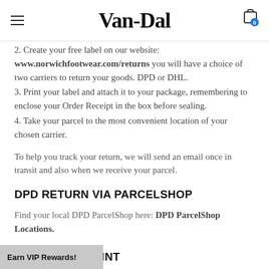Van-Dal
2. Create your free label on our website: www.norwichfootwear.com/returns you will have a choice of two carriers to return your goods. DPD or DHL.
3. Print your label and attach it to your package, remembering to enclose your Order Receipt in the box before sealing.
4. Take your parcel to the most convenient location of your chosen carrier.
To help you track your return, we will send an email once in transit and also when we receive your parcel.
DPD RETURN VIA PARCELSHOP
Find your local DPD ParcelShop here: DPD ParcelShop Locations.
EL SERVICE POINT